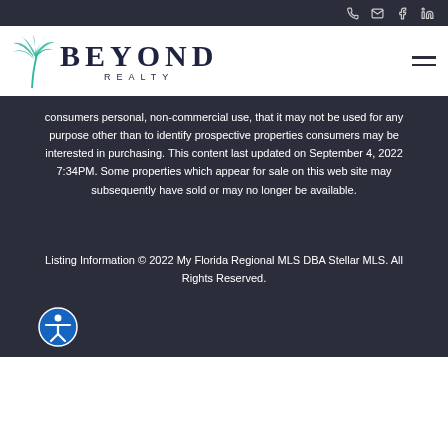Beyond Realty — top navigation bar with phone, email, facebook, linkedin icons
[Figure (logo): Beyond Realty logo: palm tree icon in teal/green with 'BEYOND REALTY' in dark navy text]
consumers personal, non-commercial use, that it may not be used for any purpose other than to identify prospective properties consumers may be interested in purchasing. This content last updated on September 4, 2022 7:34PM. Some properties which appear for sale on this web site may subsequently have sold or may no longer be available.
Listing Information © 2022 My Florida Regional MLS DBA Stellar MLS. All Rights Reserved.